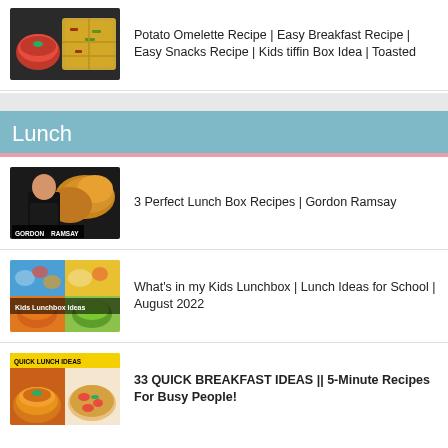Potato Omelette Recipe | Easy Breakfast Recipe | Easy Snacks Recipe | Kids tiffin Box Idea | Toasted
3 Perfect Lunch Box Recipes | Gordon Ramsay
What’s in my Kids Lunchbox | Lunch Ideas for School | August 2022
33 QUICK BREAKFAST IDEAS || 5-Minute Recipes For Busy People!